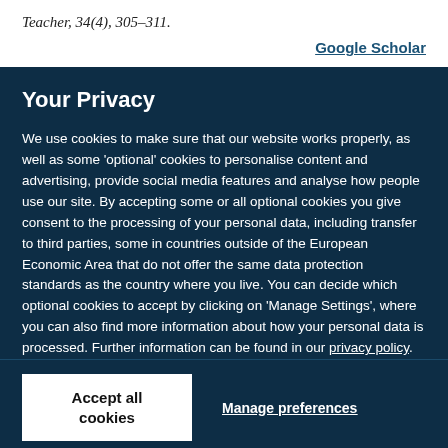Teacher, 34(4), 305–311.
Google Scholar
Your Privacy
We use cookies to make sure that our website works properly, as well as some 'optional' cookies to personalise content and advertising, provide social media features and analyse how people use our site. By accepting some or all optional cookies you give consent to the processing of your personal data, including transfer to third parties, some in countries outside of the European Economic Area that do not offer the same data protection standards as the country where you live. You can decide which optional cookies to accept by clicking on 'Manage Settings', where you can also find more information about how your personal data is processed. Further information can be found in our privacy policy.
Accept all cookies
Manage preferences